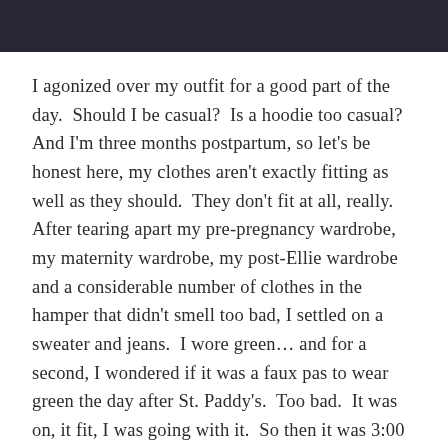[Figure (photo): Dark/blurred photo strip at top of page, appears to show a shadowy subject]
I agonized over my outfit for a good part of the day.  Should I be casual?  Is a hoodie too casual?  And I'm three months postpartum, so let's be honest here, my clothes aren't exactly fitting as well as they should.  They don't fit at all, really.  After tearing apart my pre-pregnancy wardrobe, my maternity wardrobe, my post-Ellie wardrobe and a considerable number of clothes in the hamper that didn't smell too bad, I settled on a sweater and jeans.  I wore green… and for a second, I wondered if it was a faux pas to wear green the day after St. Paddy's.  Too bad.  It was on, it fit, I was going with it.  So then it was 3:00 and I wasn't leaving until 5:30.  Let the thumb-twiddling commence.